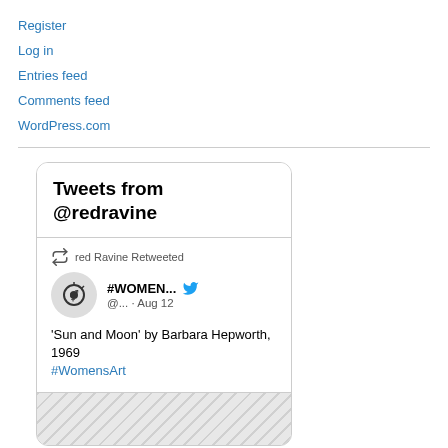Register
Log in
Entries feed
Comments feed
WordPress.com
[Figure (screenshot): Embedded Twitter/X widget showing 'Tweets from @redravine'. Contains a retweet by red Ravine of #WOMEN... account (@...) from Aug 12, with tweet text: 'Sun and Moon' by Barbara Hepworth, 1969 #WomensArt. Below is a partial image strip (artwork image).]